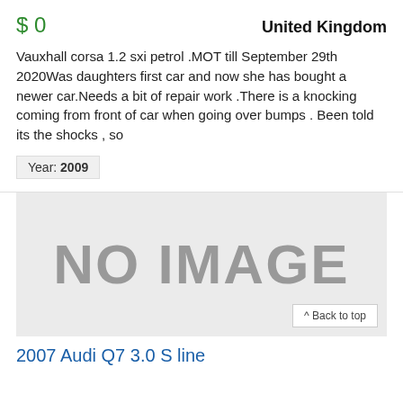$ 0
United Kingdom
Vauxhall corsa 1.2 sxi petrol .MOT till September 29th 2020Was daughters first car and now she has bought a newer car.Needs a bit of repair work .There is a knocking coming from front of car when going over bumps . Been told its the shocks , so
Year: 2009
[Figure (other): NO IMAGE placeholder box with grey background]
^ Back to top
2007 Audi Q7 3.0 S line